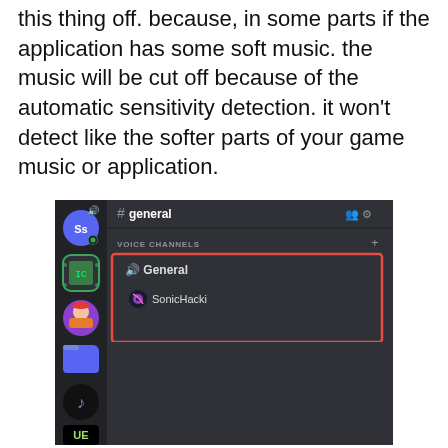this thing off. because, in some parts if the application has some soft music. the music will be cut off because of the automatic sensitivity detection. it won't detect like the softer parts of your game music or application.
[Figure (screenshot): Screenshot of a Discord interface showing a voice channel section with 'General' channel and user 'SonicHacki' in it, highlighted with a red rectangle border. Sidebar shows several server icons.]